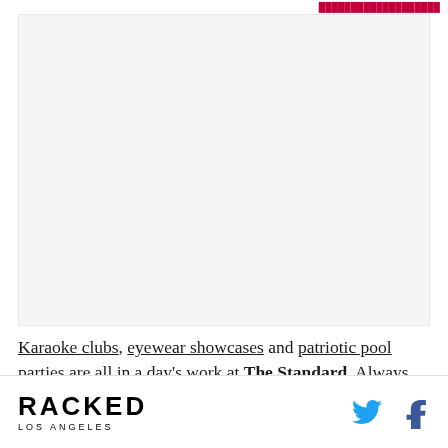[link text partially visible at top]
[Figure (photo): Large image placeholder, light gray background, approximately 330px wide and 310px tall]
Karaoke clubs, eyewear showcases and patriotic pool parties are all in a day's work at The Standard. Always searching for innovative ways to inspire its cool-kid patrons, the
RACKED LOS ANGELES [Twitter icon] [Facebook icon]